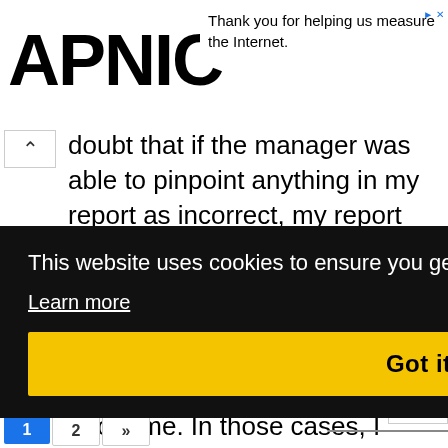[Figure (logo): APNIC logo in large bold black text]
Thank you for helping us measure the Internet.
doubt that if the manager was able to pinpoint anything in my report as incorrect, my report would be thrown out. And - even bigger surprise - I have been contacted a few times after very good reports and asked the same information about me. In those cases, I was told the manager wanted to reward a specific employee and use the incident as a training for their staff.
This website uses cookies to ensure you get the best experience on our website.
Learn more
Got it!